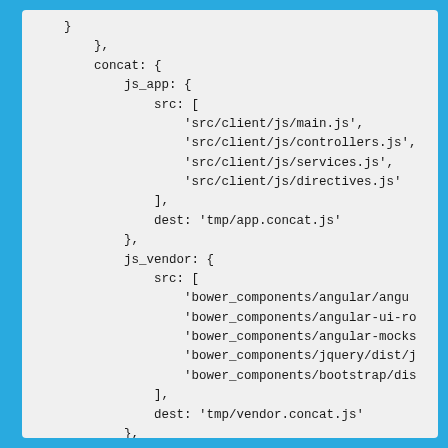}
        },
        concat: {
            js_app: {
                src: [
                    'src/client/js/main.js',
                    'src/client/js/controllers.js',
                    'src/client/js/services.js',
                    'src/client/js/directives.js'
                ],
                dest: 'tmp/app.concat.js'
            },
            js_vendor: {
                src: [
                    'bower_components/angular/angu
                    'bower_components/angular-ui-ro
                    'bower_components/angular-mocks
                    'bower_components/jquery/dist/j
                    'bower_components/bootstrap/dis
                ],
                dest: 'tmp/vendor.concat.js'
            },
            js: {
                src: [
                    'tmp/vendor.concat.js',
                    'tmp/app.concat.js'
                ],
                dest: 'tmp/client.concat.js'
            },